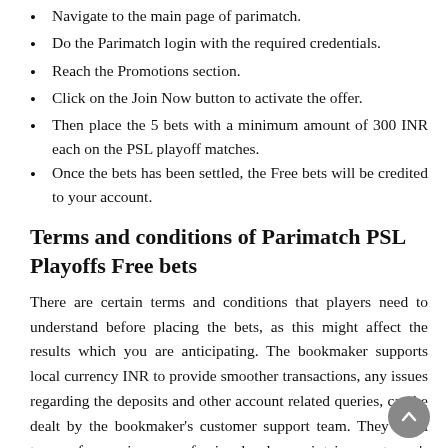Navigate to the main page of parimatch.
Do the Parimatch login with the required credentials.
Reach the Promotions section.
Click on the Join Now button to activate the offer.
Then place the 5 bets with a minimum amount of 300 INR each on the PSL playoff matches.
Once the bets has been settled, the Free bets will be credited to your account.
Terms and conditions of Parimatch PSL Playoffs Free bets
There are certain terms and conditions that players need to understand before placing the bets, as this might affect the results which you are anticipating. The bookmaker supports local currency INR to provide smoother transactions, any issues regarding the deposits and other account related queries, can be dealt by the bookmaker's customer support team. They are a team of experience professional who maintains customer's advocacy and been adherent to the